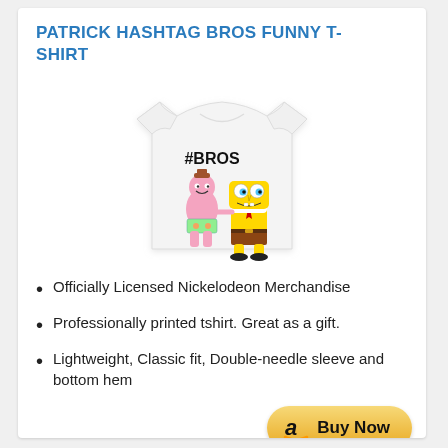PATRICK HASHTAG BROS FUNNY T-SHIRT
[Figure (photo): White t-shirt with SpongeBob and Patrick characters and #BROS text printed on it]
Officially Licensed Nickelodeon Merchandise
Professionally printed tshirt. Great as a gift.
Lightweight, Classic fit, Double-needle sleeve and bottom hem